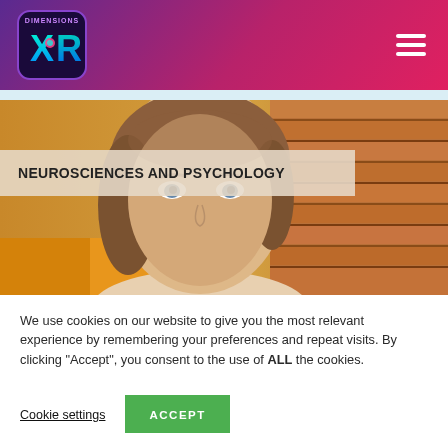[Figure (logo): Dimensions XR logo — stylized XR letters with neon teal/pink coloring on dark background, circular badge with 'DIMENSIONS' text at top]
[Figure (photo): Website screenshot hero image: a woman's face (close-up, brown hair, blue eyes looking at camera) against a wooden slatted wall background in warm brown/orange tones]
NEUROSCIENCES AND PSYCHOLOGY
We use cookies on our website to give you the most relevant experience by remembering your preferences and repeat visits. By clicking “Accept”, you consent to the use of ALL the cookies.
Cookie settings
ACCEPT